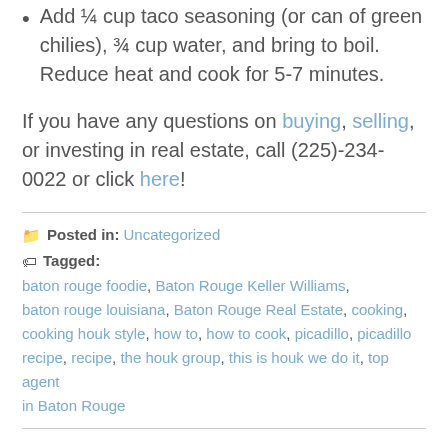Add ¼ cup taco seasoning (or can of green chilies), ¾ cup water, and bring to boil. Reduce heat and cook for 5-7 minutes.
If you have any questions on buying, selling, or investing in real estate, call (225)-234-0022 or click here!
Posted in: Uncategorized
Tagged: baton rouge foodie, Baton Rouge Keller Williams, baton rouge louisiana, Baton Rouge Real Estate, cooking, cooking houk style, how to, how to cook, picadillo, picadillo recipe, recipe, the houk group, this is houk we do it, top agent in Baton Rouge
Moving During Covid-19: